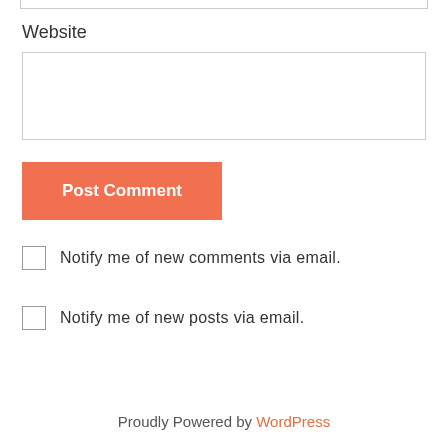Website
Post Comment
Notify me of new comments via email.
Notify me of new posts via email.
Proudly Powered by WordPress